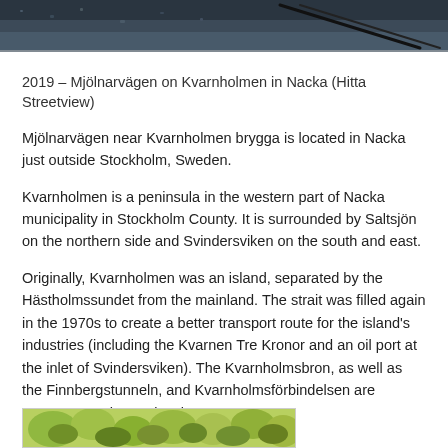[Figure (photo): Top portion of a street view photo showing a dark surface (likely a car roof or road) with wiper blades visible, taken in Nacka, Sweden]
2019 – Mjölnarvägen on Kvarnholmen in Nacka (Hitta Streetview)
Mjölnarvägen near Kvarnholmen brygga is located in Nacka just outside Stockholm, Sweden.
Kvarnholmen is a peninsula in the western part of Nacka municipality in Stockholm County. It is surrounded by Saltsjön on the northern side and Svindersviken on the south and east.
Originally, Kvarnholmen was an island, separated by the Hästholmssundet from the mainland. The strait was filled again in the 1970s to create a better transport route for the island's industries (including the Kvarnen Tre Kronor and an oil port at the inlet of Svindersviken). The Kvarnholmsbron, as well as the Finnbergstunneln, and Kvarnholmsförbindelsen are entrances to the peninsula.
[Figure (photo): Bottom portion of another photo showing green foliage, partially visible at the bottom of the page]